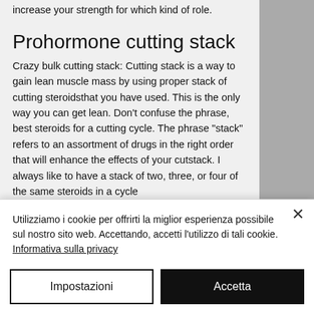increase your strength for which kind of role.
Prohormone cutting stack
Crazy bulk cutting stack: Cutting stack is a way to gain lean muscle mass by using proper stack of cutting steroidsthat you have used. This is the only way you can get lean. Don't confuse the phrase, best steroids for a cutting cycle. The phrase "stack" refers to an assortment of drugs in the right order that will enhance the effects of your cutstack. I always like to have a stack of two, three, or four of the same steroids in a cycle…
Utilizziamo i cookie per offrirti la miglior esperienza possibile sul nostro sito web. Accettando, accetti l'utilizzo di tali cookie. Informativa sulla privacy
Impostazioni
Accetta